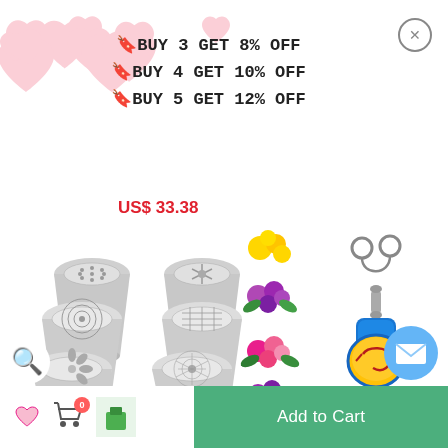[Figure (infographic): Promotional banner with pink heart pattern background showing discount offers]
🔖BUY 3 GET 8% OFF
🔖BUY 4 GET 10% OFF
🔖BUY 5 GET 12% OFF
US$ 33.38
[Figure (photo): 6 stainless steel Russian piping tips with flower-patterned ends, shown alongside colorful flower designs made with the tips]
[Figure (photo): Fishing Knot Tying Tool with blue handle and yellow disc]
6Pcs DIY Baking Tools Russian..
US$ 19.99
Fishing Knot Tying Tool
US$ 16.66
Add to Cart